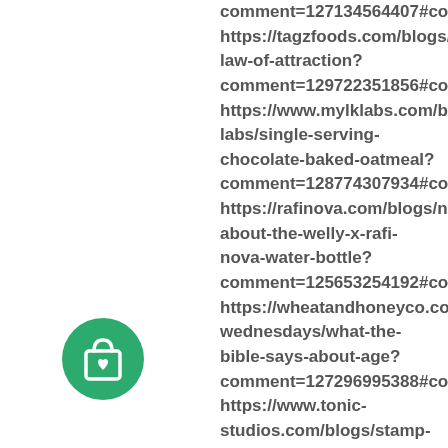comment=127134564407#comments https://tagzfoods.com/blogs/news/the-law-of-attraction?comment=129722351856#comments https://www.mylklabs.com/blogs/mylk-labs/single-serving-chocolate-baked-oatmeal?comment=128774307934#comments https://rafinova.com/blogs/news/all-about-the-welly-x-rafi-nova-water-bottle?comment=125653254192#comments https://wheatandhoneyco.com/blogs/wheatful-wednesdays/what-the-bible-says-about-age?comment=127296995388#comments https://www.tonic-studios.com/blogs/stamp-club/stampclub-partyanimals-bloghop?
[Figure (illustration): Green circle icon with a shopping bag and heart symbol inside]